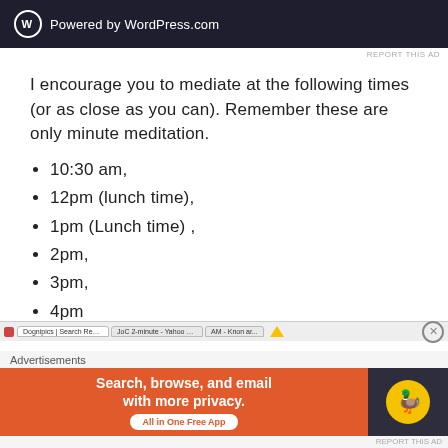[Figure (screenshot): WordPress.com powered banner in dark navy background with WordPress logo and text]
REPORT THIS AD
I encourage you to mediate at the following times (or as close as you can).  Remember these are only minute meditation.
10:30 am,
12pm (lunch time),
1pm (Lunch time) ,
2pm,
3pm,
4pm
[Figure (screenshot): Browser taskbar with tabs and yellow arrow indicator and close button]
Advertisements
[Figure (screenshot): DuckDuckGo advertisement banner: Search, browse, and email with more privacy. All in One Free App]